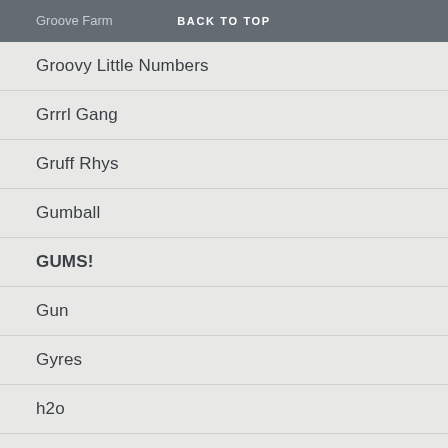Groove Farm  BACK TO TOP
Groovy Little Numbers
Grrrl Gang
Gruff Rhys
Gumball
GUMS!
Gun
Gyres
h2o
Hadda Be
Haig/Mackenzie
Haircut 100
Half Man Half Biscuit